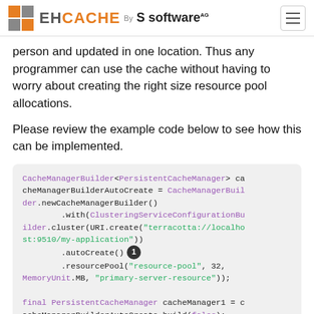EHCACHE By software AG
person and updated in one location. Thus any programmer can use the cache without having to worry about creating the right size resource pool allocations.
Please review the example code below to see how this can be implemented.
[Figure (screenshot): Code block showing CacheManagerBuilder example with ClusteringServiceConfigurationBuilder, autoCreate(), and resourcePool() calls, with a numbered badge annotation (1) next to autoCreate(). Also shows beginning of final PersistentCacheManager cacheManager1 = cacheManagerBuilderAutoCreate.build(false);]